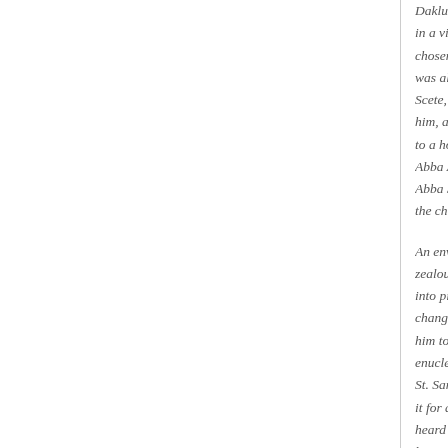Dakluba, diocese of Masil, from holy parents and he was told in a vision at night, a resplendent man telling him, 'Your son is chosen by the Lord to be His all the days of his life.' Samuel was always harboring thoughts in his heart about the monastery of Scete, but he did not know the way. The Angel of the Lord, led him, as he was himself going to the monastery, until they came to a holy man called Abba Agathon who accepted him as his. Abba Agathon for three years in total obedience in every way. Abba Samuel devoted himself to many prayers and fasting in the church of St. Macarius in Scete.
An envoy came to the desert carrying Leo's Tome and when zealous, with the zeal of the Lord. He jumped up in the midst into pieces saying, 'Excommunicated is this tome and every change the Orthodox faith of our Holy Fathers.' When the him to be beaten with pins and to be hanged up by his arm enucleated one of St. Samuel's eyes. Then he was driven away St. Samuel and commanded him to depart and to dwell in it for a while teaching those gathered around him and con heard about Abba Samuel, he came to him and asked him listen to him, he smote him and expelled him out of the mo a while he returned to the monastery.
When the Barbers raided the monastery, they took him with Lord Christ to rescue him from them. Whenever they set hi on it, so they left him and he went back to his monastery.